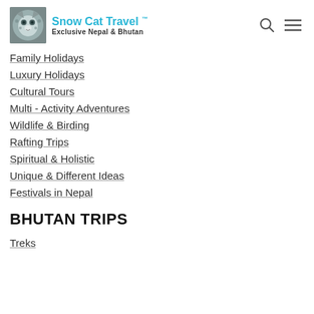Snow Cat Travel™ — Exclusive Nepal & Bhutan
Family Holidays
Luxury Holidays
Cultural Tours
Multi - Activity Adventures
Wildlife & Birding
Rafting Trips
Spiritual & Holistic
Unique & Different Ideas
Festivals in Nepal
BHUTAN TRIPS
Treks